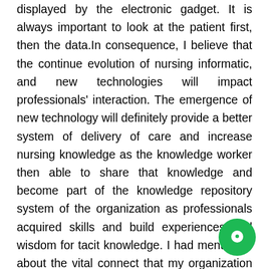displayed by the electronic gadget. It is always important to look at the patient first, then the data.In consequence, I believe that the continue evolution of nursing informatic, and new technologies will impact professionals' interaction. The emergence of new technology will definitely provide a better system of delivery of care and increase nursing knowledge as the knowledge worker then able to share that knowledge and become part of the knowledge repository system of the organization as professionals acquired skills and build experiences and wisdom for tacit knowledge. I had mentioned about the vital connect that my organization is using for our cardiac patients. The vital connect provides a wireless cardiac monitoring at the bedside. It is technology that I have not had in the past. The are aware that the cardiac rhythm is monitored, and
[Figure (illustration): Green circular chat/messaging button icon in the bottom right corner of the page]